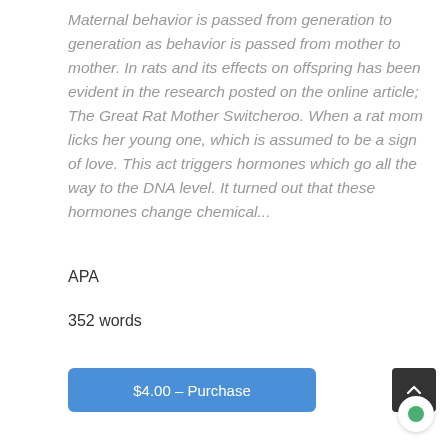Maternal behavior is passed from generation to generation as behavior is passed from mother to mother. In rats and its effects on offspring has been evident in the research posted on the online article; The Great Rat Mother Switcheroo. When a rat mom licks her young one, which is assumed to be a sign of love. This act triggers hormones which go all the way to the DNA level. It turned out that these hormones change chemical...
APA
352 words
$4.00 – Purchase